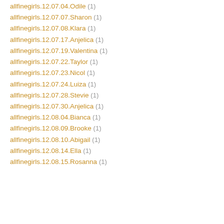allfinegirls.12.07.04.Odile (1)
allfinegirls.12.07.07.Sharon (1)
allfinegirls.12.07.08.Klara (1)
allfinegirls.12.07.17.Anjelica (1)
allfinegirls.12.07.19.Valentina (1)
allfinegirls.12.07.22.Taylor (1)
allfinegirls.12.07.23.Nicol (1)
allfinegirls.12.07.24.Luiza (1)
allfinegirls.12.07.28.Stevie (1)
allfinegirls.12.07.30.Anjelica (1)
allfinegirls.12.08.04.Bianca (1)
allfinegirls.12.08.09.Brooke (1)
allfinegirls.12.08.10.Abigail (1)
allfinegirls.12.08.14.Ella (1)
allfinegirls.12.08.15.Rosanna (1)